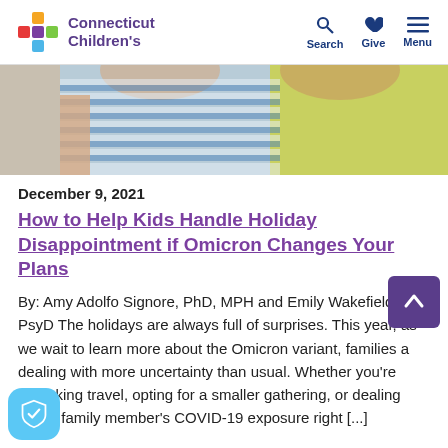Connecticut Children's | Search | Give | Menu
[Figure (photo): Close-up photo of two children wearing casual shirts (blue striped and yellow-green), cropped at torso level.]
December 9, 2021
How to Help Kids Handle Holiday Disappointment if Omicron Changes Your Plans
By: Amy Adolfo Signore, PhD, MPH and Emily Wakefield, PsyD The holidays are always full of surprises. This year, as we wait to learn more about the Omicron variant, families are dealing with more uncertainty than usual. Whether you're rethinking travel, opting for a smaller gathering, or dealing with a family member's COVID-19 exposure right [...]